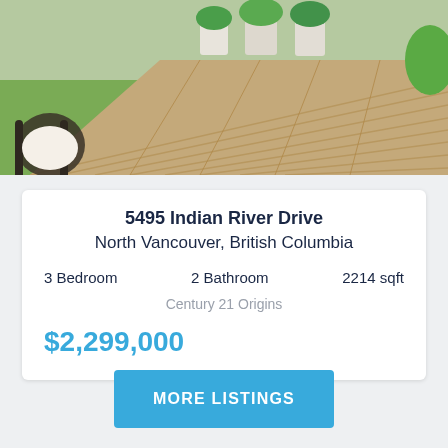[Figure (photo): Outdoor wooden deck with potted plants, rattan chair, and green lawn in background]
5495 Indian River Drive
North Vancouver, British Columbia
3 Bedroom   2 Bathroom   2214 sqft
Century 21 Origins
$2,299,000
MORE LISTINGS